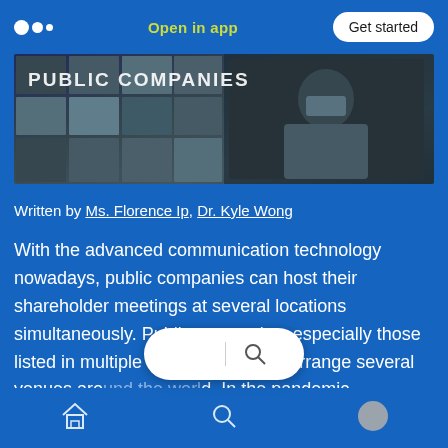Open in app | Get started
[Figure (photo): Banner image showing virtual shareholder meeting with video conference grid and text 'PUBLIC COMPANIES' overlaid]
Written by Ms. Florence Ip, Dr. Kyle Wong
With the advanced communication technology nowadays, public companies can host their shareholder meetings at several locations simultaneously. Public companies, especially those listed in multiple exchanges, often arrange several venues aro... In the pandemic
Home | Search | Profile